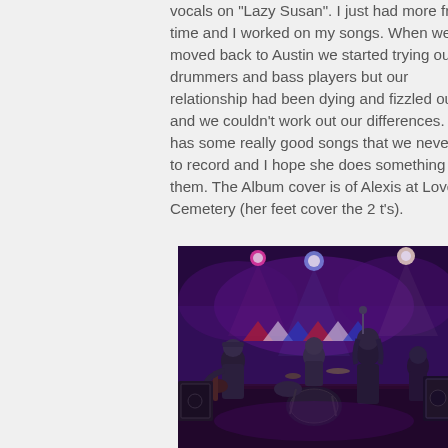vocals on "Lazy Susan". I just had more free time and I worked on my songs. When we moved back to Austin we started trying out drummers and bass players but our relationship had been dying and fizzled out and we couldn't work out our differences. She has some really good songs that we never got to record and I hope she does something with them. The Album cover is of Alexis at Lovett Cemetery (her feet cover the 2 t's).
[Figure (photo): A band performing live on stage with purple and pink stage lighting. The scene shows musicians playing guitar, drums and bass in a dimly lit venue with decorative triangular banners in the background.]